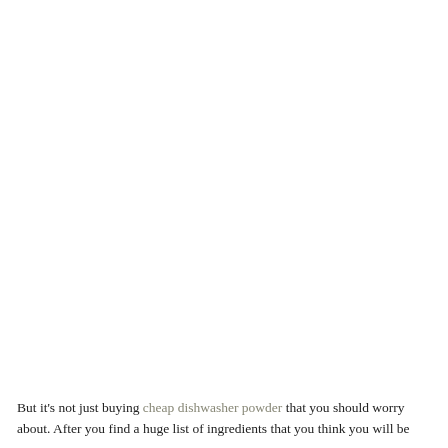But it's not just buying cheap dishwasher powder that you should worry about. After you find a huge list of ingredients that you think you will be